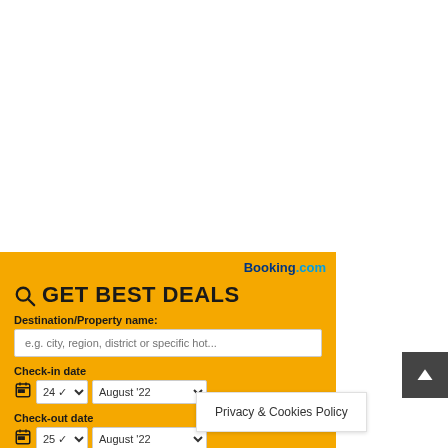[Figure (screenshot): White background upper portion of webpage]
GET BEST DEALS
Booking.com
Destination/Property name:
e.g. city, region, district or specific hot...
Check-in date
24  August '22
Check-out date
25  August '22
Privacy & Cookies Policy